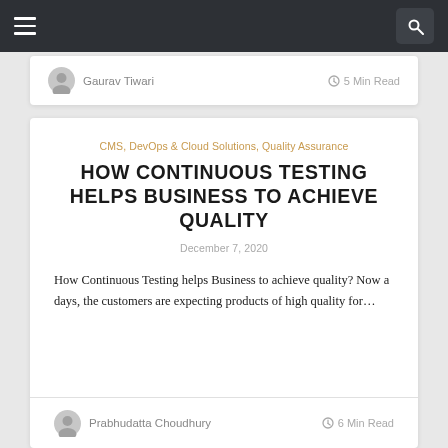Navigation bar with hamburger menu and search button
Gaurav Tiwari   5 Min Read
CMS, DevOps & Cloud Solutions, Quality Assurance
HOW CONTINUOUS TESTING HELPS BUSINESS TO ACHIEVE QUALITY
December 7, 2020
How Continuous Testing helps Business to achieve quality? Now a days, the customers are expecting products of high quality for...
Prabhudatta Choudhury   6 Min Read